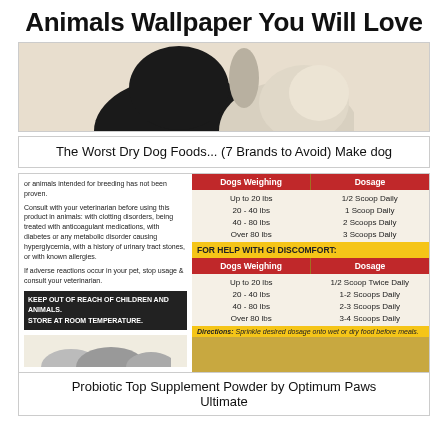Animals Wallpaper You Will Love
[Figure (photo): Black and white dog photo cropped]
The Worst Dry Dog Foods... (7 Brands to Avoid) Make dog
[Figure (photo): Dog supplement product label showing dosage tables for probiotic powder]
Probiotic Top Supplement Powder by Optimum Paws Ultimate